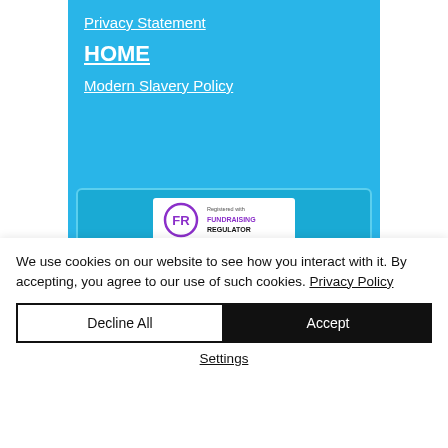Privacy Statement
HOME
Modern Slavery Policy
[Figure (logo): Fundraising Regulator registered badge with FR logo circle and text]
[Figure (logo): Disability confident employer logo]
We use cookies on our website to see how you interact with it. By accepting, you agree to our use of such cookies. Privacy Policy
Decline All
Accept
Settings